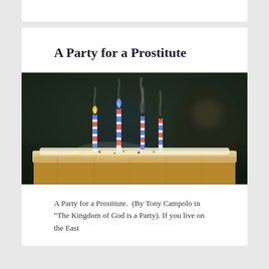A Party for a Prostitute
[Figure (photo): Close-up photograph of a birthday cake with several lit and smoking candles. The candles are striped in blue, red, and white. Some candles are still lit with flames, others are smoking. A blurred person is visible in the background.]
A Party for a Prostitute.  (By Tony Campolo in "The Kingdom of God is a Party). If you live on the East